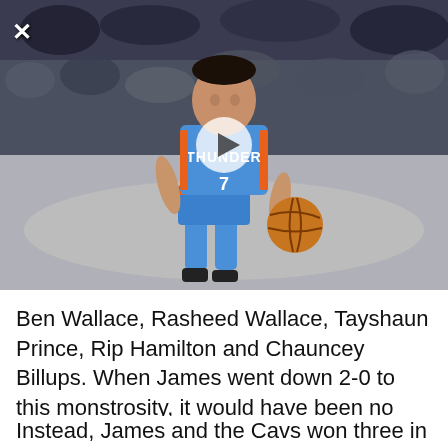[Figure (photo): A basketball player wearing Oklahoma City Thunder jersey number 7 in blue dribbles a basketball on court, with a crowd of spectators in the background. A white play button overlay is centered on the image. An X close button is in the top-left corner.]
Ben Wallace, Rasheed Wallace, Tayshaun Prince, Rip Hamilton and Chauncey Billups. When James went down 2-0 to this monstrosity, it would have been no surprise to see him bow out in four or five.
Instead, James and the Cavs won three in a row...